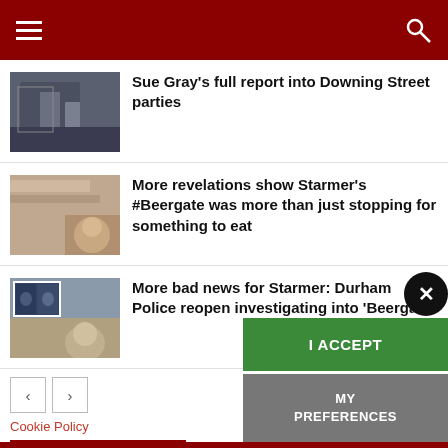Navigation header with hamburger menu and search icon
[Figure (photo): Thumbnail image of people at Downing Street]
Sue Gray’s full report into Downing Street parties
[Figure (photo): Thumbnail image related to Beergate story]
More revelations show Starmer’s #Beergate was more than just stopping for something to eat
[Figure (photo): Thumbnail image related to Durham Police and Beergate]
More bad news for Starmer: Durham Police reopen investigating into ‘Beergate’
< (previous page button)
> (next page button)
Cookie Policy
HELP SUPPORT US
I ACCEPT
MY PREFERENCES